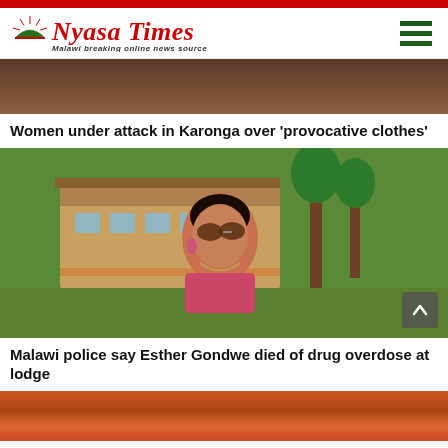Nyasa Times – Malawi breaking online news source
[Figure (photo): Partial view of a brown/dark background image, top of article about women under attack in Karonga]
Women under attack in Karonga over 'provocative clothes'
[Figure (photo): Woman wearing sunglasses and pink top standing outdoors near a lodge with trees and a building in the background]
Malawi police say Esther Gondwe died of drug overdose at lodge
[Figure (photo): Partial view of two people outdoors, bottom of page]